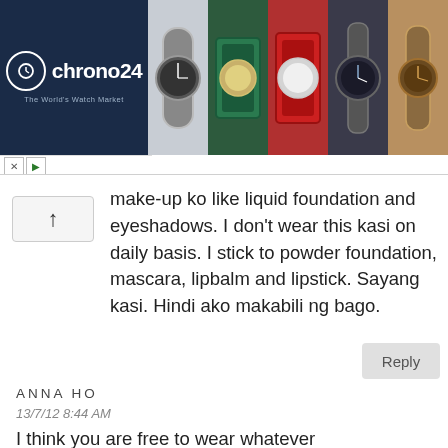[Figure (screenshot): Chrono24 watch marketplace advertisement banner with logo on dark blue left panel and watch photos grid on right]
make-up ko like liquid foundation and eyeshadows. I don't wear this kasi on daily basis. I stick to powder foundation, mascara, lipbalm and lipstick. Sayang kasi. Hindi ako makabili ng bago.
Reply
ANNA HO
13/7/12 8:44 AM
I think you are free to wear whatever